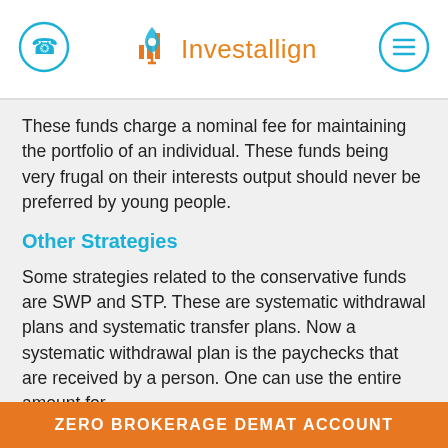Investallign
These funds charge a nominal fee for maintaining the portfolio of an individual. These funds being very frugal on their interests output should never be preferred by young people.
Other Strategies
Some strategies related to the conservative funds are SWP and STP. These are systematic withdrawal plans and systematic transfer plans. Now a systematic withdrawal plan is the paychecks that are received by a person. One can use the entire amount for
ZERO BROKERAGE DEMAT ACCOUNT